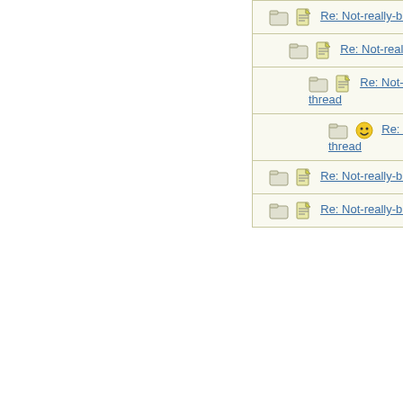| Subject | Author |
| --- | --- |
| Re: Not-really-brag-so-much-as-quirky-anecdote thread | aquinas |
| Re: Not-really-brag-so-much-as-quirky-anecdote thread | EmeraldC |
| Re: Not-really-brag-so-much-as-quirky-anecdote thread | aquinas |
| Re: Not-really-brag-so-much-as-quirky-anecdote thread | EmeraldC |
| Re: Not-really-brag-so-much-as-quirky-anecdote thread | Lovemyd |
| Re: Not-really-brag-so-much-as-quirky-anecdote thread | aquinas |